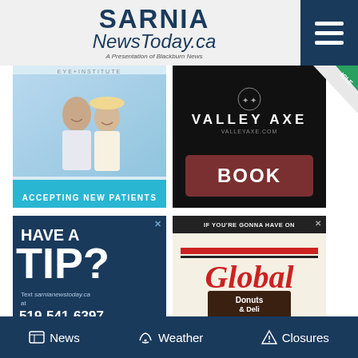SARNIA NewsToday.ca — A Presentation of Blackburn News
[Figure (advertisement): Eye Institute ad — couple smiling outdoors, text ACCEPTING NEW PATIENTS with cyan banner]
[Figure (advertisement): Valley Axe ad — dark background with VALLEY AXE text and brown BOOK button, valleyaxe.com]
[Figure (advertisement): Have a Tip? ad — dark blue background, bold white text HAVE A TIP?, Text sarnianewstoday.ca at 519-541-6397]
[Figure (advertisement): Global Donuts & Deli ad — IF YOU'RE GONNA HAVE ONE top bar, Global Donuts & Deli logo, ...GOTTA BE A GLOBAL DONUT! bottom bar]
Taboola Feed
News   Weather   Closures